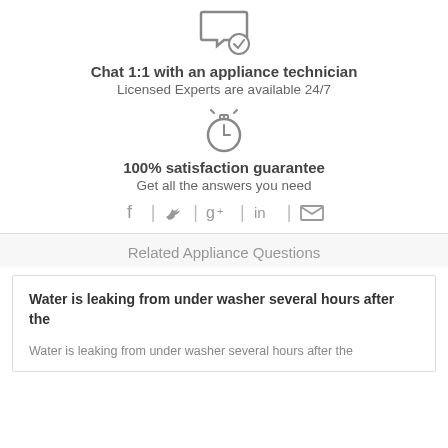[Figure (illustration): Chat bubble with check mark icon, gray outline style]
Chat 1:1 with an appliance technician
Licensed Experts are available 24/7
[Figure (illustration): Stopwatch / timer icon, gray outline style]
100% satisfaction guarantee
Get all the answers you need
[Figure (illustration): Social sharing icons: Facebook, Twitter, Google+, LinkedIn, Email, separated by vertical bars]
Related Appliance Questions
Water is leaking from under washer several hours after the
Water is leaking from under washer several hours after the